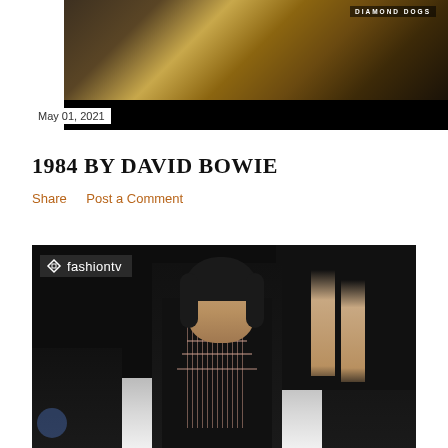[Figure (photo): Album cover or artwork image — top portion with dark golden/bronze toned artwork and 'DIAMOND DOGS' text visible in upper right, below is a solid black bar]
May 01, 2021
1984 BY DAVID BOWIE
Share   Post a Comment
[Figure (screenshot): Fashion TV runway video screenshot. A female model walking a runway wearing a black dress with pink/rose patterned geometric embellishment. FashionTV logo in upper left corner. Second model's legs visible in upper right. Dark audience and venue background.]